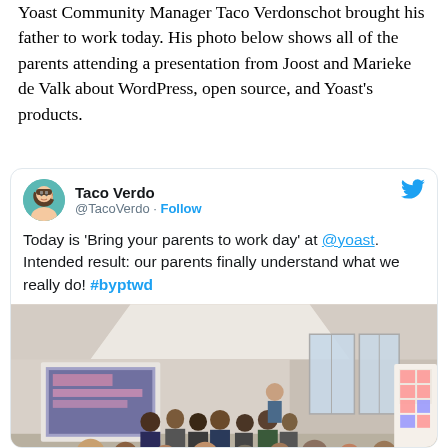Yoast Community Manager Taco Verdonschot brought his father to work today. His photo below shows all of the parents attending a presentation from Joost and Marieke de Valk about WordPress, open source, and Yoast's products.
[Figure (screenshot): Embedded tweet from @TacoVerdo with display name 'Taco Verdo', showing tweet text: "Today is 'Bring your parents to work day' at @yoast. Intended result: our parents finally understand what we really do! #byptwd" along with a photo of a presentation room with people seated watching a projected screen.]